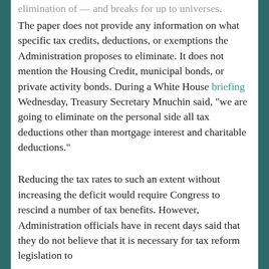elimination of — and breaks for up to universes.
The paper does not provide any information on what specific tax credits, deductions, or exemptions the Administration proposes to eliminate. It does not mention the Housing Credit, municipal bonds, or private activity bonds. During a White House briefing Wednesday, Treasury Secretary Mnuchin said, "we are going to eliminate on the personal side all tax deductions other than mortgage interest and charitable deductions."
Reducing the tax rates to such an extent without increasing the deficit would require Congress to rescind a number of tax benefits. However, Administration officials have in recent days said that they do not believe that it is necessary for tax reform legislation to